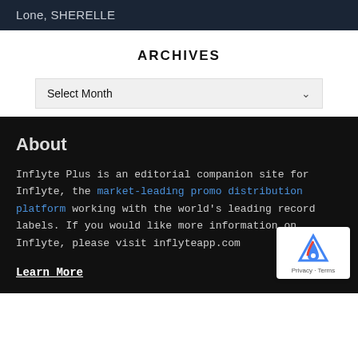Lone, SHERELLE
ARCHIVES
Select Month
About
Inflyte Plus is an editorial companion site for Inflyte, the market-leading promo distribution platform working with the world's leading record labels. If you would like more information on Inflyte, please visit inflyteapp.com
Learn More